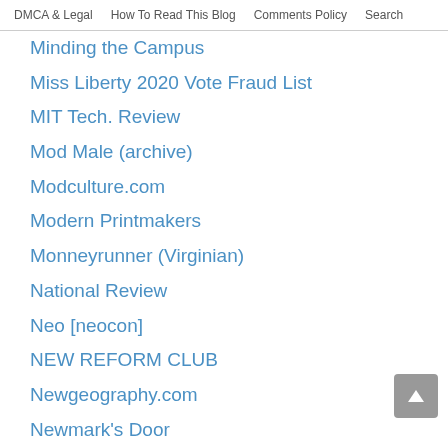DMCA & Legal  How To Read This Blog  Comments Policy  Search
Minding the Campus
Miss Liberty 2020 Vote Fraud List
MIT Tech. Review
Mod Male (archive)
Modculture.com
Modern Printmakers
Monneyrunner (Virginian)
National Review
Neo [neocon]
NEW REFORM CLUB
Newgeography.com
Newmark's Door